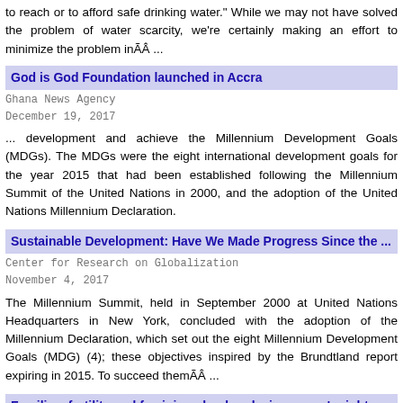to reach or to afford safe drinking water." While we may not have solved the problem of water scarcity, we're certainly making an effort to minimize the problem inÃÂ ...
God is God Foundation launched in Accra
Ghana News Agency
December 19, 2017
... development and achieve the Millennium Development Goals (MDGs). The MDGs were the eight international development goals for the year 2015 that had been established following the Millennium Summit of the United Nations in 2000, and the adoption of the United Nations Millennium Declaration.
Sustainable Development: Have We Made Progress Since the ...
Center for Research on Globalization
November 4, 2017
The Millennium Summit, held in September 2000 at United Nations Headquarters in New York, concluded with the adoption of the Millennium Declaration, which set out the eight Millennium Development Goals (MDG) (4); these objectives inspired by the Brundtland report expiring in 2015. To succeed themÃÂ ...
Families, fertility and feminism: landmarks in women's rights
The Guardian